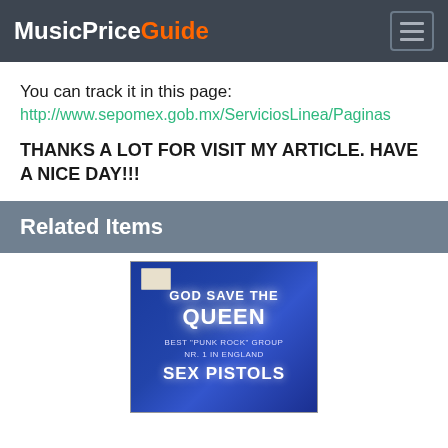MusicPriceGuide
You can track it in this page:
http://www.sepomex.gob.mx/ServiciosLinea/Paginas
THANKS A LOT FOR VISIT MY ARTICLE. HAVE A NICE DAY!!!
Related Items
[Figure (photo): Album cover for 'God Save The Queen' by Sex Pistols, blue background with white glowing text]